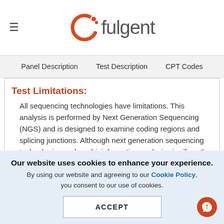[Figure (logo): Fulgent logo: orange circle icon with dots and grey 'fulgent' wordmark]
Panel Description   Test Description   CPT Codes
Test Limitations:
All sequencing technologies have limitations. This analysis is performed by Next Generation Sequencing (NGS) and is designed to examine coding regions and splicing junctions. Although next generation sequencing technologies and our bioinformatics analysis significantly reduce the contribution of pseudogene sequences or other highly-homologous sequences, these may
Our website uses cookies to enhance your experience. By using our website and agreeing to our Cookie Policy, you consent to our use of cookies.
ACCEPT